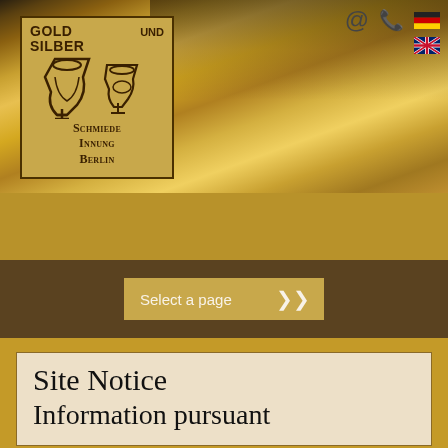[Figure (logo): Gold und Silber Schmiedeinnung Berlin logo - a square golden box with two chalice/cup symbols and the organization name in German]
[Figure (photo): Background header photo showing gold/jewelry items, blurred, with warm golden tones]
Select a page
Site Notice
Information pursuant